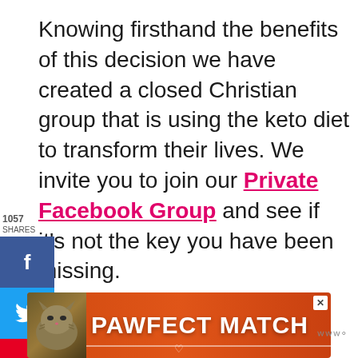Knowing firsthand the benefits of this decision we have created a closed Christian group that is using the keto diet to transform their lives. We invite you to join our Private Facebook Group and see if it's not the key you have been missing.
[Figure (screenshot): Social media share widget on the left with Facebook (f), Twitter (bird), and Pinterest (p) buttons showing 1057 shares]
[Figure (screenshot): Right side share bubble showing 1.1K shares with a heart icon above]
[Figure (screenshot): What's Next widget with food image and text 'Keto Emergency...']
[Figure (screenshot): PAWFECT MATCH advertisement banner with a cat image on orange/red background]